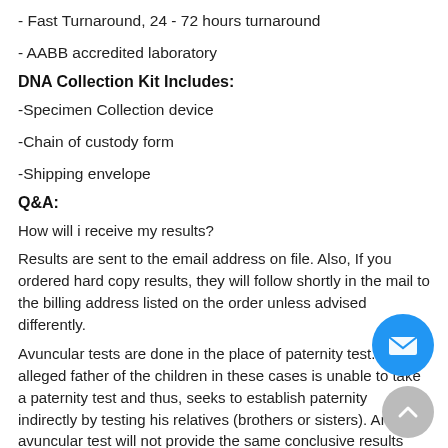- Fast Turnaround,  24 - 72 hours turnaround
- AABB accredited laboratory
DNA Collection Kit Includes:
-Specimen Collection device
-Chain of custody form
-Shipping envelope
Q&A:
How will i receive my results?
Results are sent to the email address on file. Also, If you ordered hard copy results, they will follow shortly in the mail to the billing address listed on the order unless advised differently.
Avuncular tests are done in the place of paternity test. The alleged father of the children in these cases is unable to take a paternity test and thus, seeks to establish paternity indirectly by testing his relatives (brothers or sisters). An avuncular test will not provide the same conclusive results one would expect from a paternity test. Testing the alleged father and child in a paternity test will provide extremely accurate results (in excess of 99.99%)